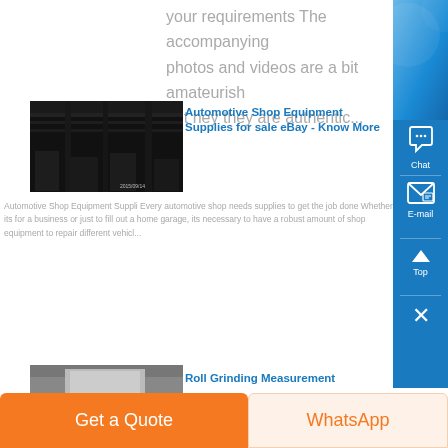your requirements The accompanying photos and videos are a bit amateurish but hey they are authentic...
[Figure (photo): Dark industrial automotive shop interior with equipment and metal structures]
Automotive Shop Equipment Supplies for sale eBay - Know More
Automotive Shop Equipment Suppli Every automotive shop needs supplies to get the job done Whether its for a business or just to fill out a home garage, its necessary to have a robust amount of shop equipment to repair different vehicl...
[Figure (photo): Roll grinding measurement image, partially visible]
Roll Grinding Measurement
Get a Quote
WhatsApp